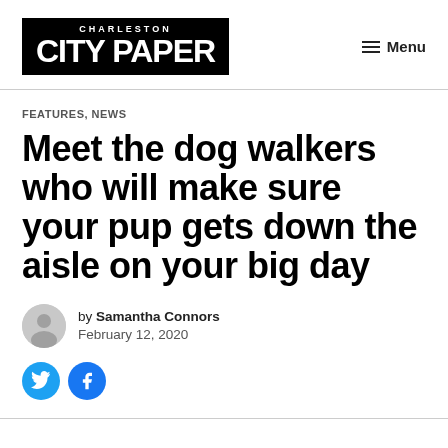CHARLESTON CITY PAPER | Menu
FEATURES, NEWS
Meet the dog walkers who will make sure your pup gets down the aisle on your big day
by Samantha Connors
February 12, 2020